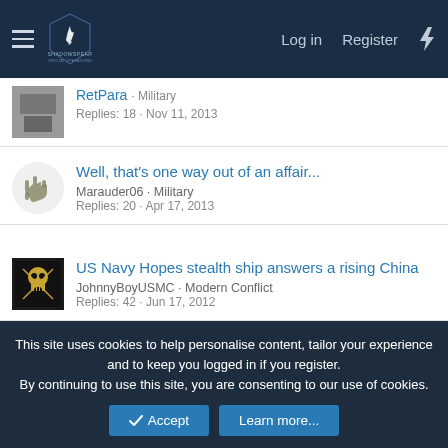ShadowSpear Special Operations — Log in | Register
RetPara · Military — Replies: 18 · Nov 11, 2013
Well, that's one way out of an affair... — Marauder06 · Military — Replies: 20 · Apr 17, 2013
US Navy Hopes stealth ship answers a rising China — JohnnyBoyUSMC · Modern Conflict — Replies: 42 · Jun 17, 2012
Share:
This site uses cookies to help personalise content, tailor your experience and to keep you logged in if you register. By continuing to use this site, you are consenting to our use of cookies.